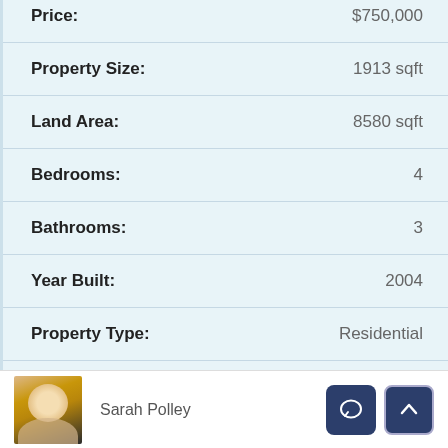| Property | Value |
| --- | --- |
| Price: | $750,000 |
| Property Size: | 1913 sqft |
| Land Area: | 8580 sqft |
| Bedrooms: | 4 |
| Bathrooms: | 3 |
| Year Built: | 2004 |
| Property Type: | Residential |
Sarah Polley